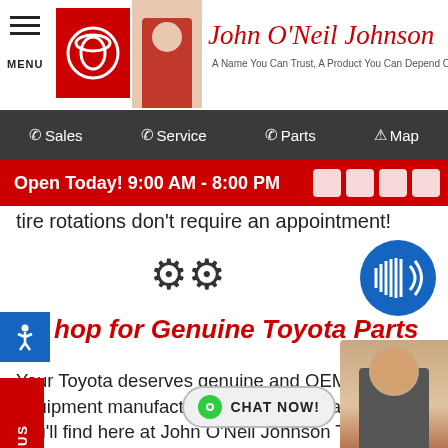John O'Neil Johnson — A Name You Can Trust, A Product You Can Depend On
Sales | Service | Parts | Map
Open Today! 9:00 AM - 8:00 PM
tire rotations don't require an appointment!
[Figure (illustration): Gear/settings icons]
[Figure (illustration): Audio/speaker button circle]
Shop for Genuine Toyota Parts
Your Toyota deserves genuine and OEM (original equipment manufacturer) parts, and that's what you'll find here at John O'Neil Johnson Toyota! Whether you visit us for service or contact our parts department, your car can be treated to authentic Toyota components and accessories, and all at affordable prices.